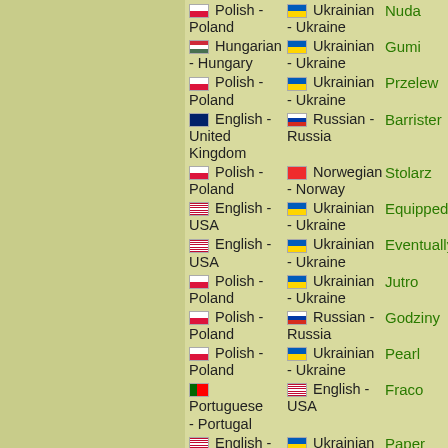Polish - Poland | Ukrainian - Ukraine | Nuda
Hungarian - Hungary | Ukrainian - Ukraine | Gumi
Polish - Poland | Ukrainian - Ukraine | Przelew
English - United Kingdom | Russian - Russia | Barrister
Polish - Poland | Norwegian - Norway | Stolarz
English - USA | Ukrainian - Ukraine | Equipped
English - USA | Ukrainian - Ukraine | Eventually
Polish - Poland | Ukrainian - Ukraine | Jutro
Polish - Poland | Russian - Russia | Godziny
Polish - Poland | Ukrainian - Ukraine | Pearl
Portuguese - Portugal | English - USA | Fraco
English - | Ukrainian | Paper